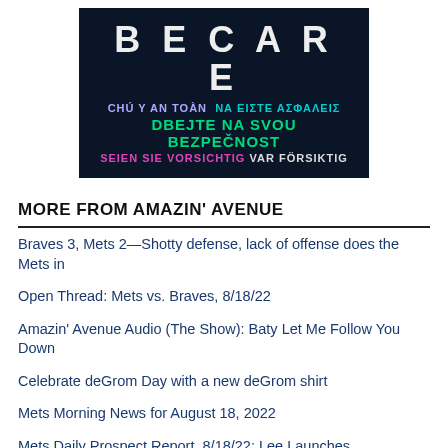[Figure (infographic): Dark navy banner with multilingual 'BE CAREFUL / STAY SAFE' messages in various colors: Vietnamese (purple), Greek (cyan), Czech (green), German (pink), Swedish (white/gray)]
MORE FROM AMAZIN' AVENUE
Braves 3, Mets 2—Shotty defense, lack of offense does the Mets in
Open Thread: Mets vs. Braves, 8/18/22
Amazin' Avenue Audio (The Show): Baty Let Me Follow You Down
Celebrate deGrom Day with a new deGrom shirt
Mets Morning News for August 18, 2022
Mets Daily Prospect Report, 8/18/22: Lee Launches
Why scammers use a ticking clock to trick us into making bad decisions